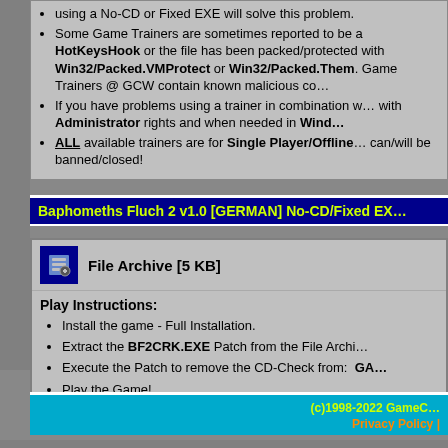using a No-CD or Fixed EXE will solve this problem.
Some Game Trainers are sometimes reported to be a HotKeysHook or the file has been packed/protected with Win32/Packed.VMProtect or Win32/Packed.Them. Game Trainers @ GCW contain known malicious code.
If you have problems using a trainer in combination with Administrator rights and when needed in Wind...
ALL available trainers are for Single Player/Offline can/will be banned/closed!
Baphomeths Fluch 2 v1.0 [GERMAN] No-CD/Fixed EXE
File Archive [5 KB]
Play Instructions:
Install the game - Full Installation.
Extract the BF2CRK.EXE Patch from the File Archive.
Execute the Patch to remove the CD-Check from: GA...
Play the Game!
(c)1998-2022 GameCopyWorld  Privacy Policy |